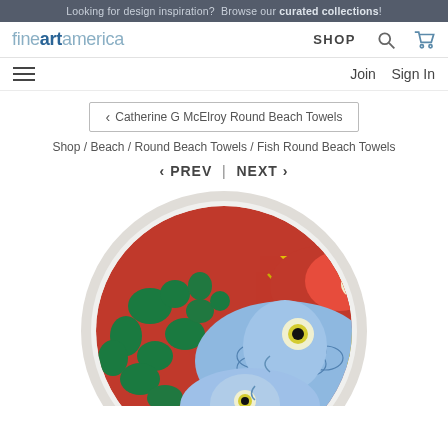Looking for design inspiration? Browse our curated collections!
[Figure (logo): Fine Art America logo with SHOP nav, search icon, and cart icon]
Join   Sign In
< Catherine G McElroy Round Beach Towels
Shop / Beach / Round Beach Towels / Fish Round Beach Towels
< PREV  |  NEXT >
[Figure (photo): Round beach towel with colorful fish artwork — blue fish with yellow scales, red and green mosaic pattern background, white fringe border]